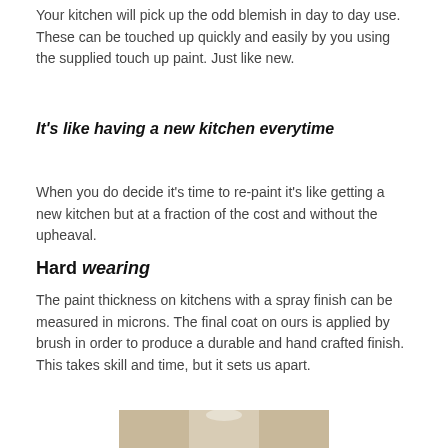Your kitchen will pick up the odd blemish in day to day use. These can be touched up quickly and easily by you using the supplied touch up paint. Just like new.
It's like having a new kitchen everytime
When you do decide it's time to re-paint it's like getting a new kitchen but at a fraction of the cost and without the upheaval.
Hard wearing
The paint thickness on kitchens with a spray finish can be measured in microns. The final coat on ours is applied by brush in order to produce a durable and hand crafted finish. This takes skill and time, but it sets us apart.
[Figure (photo): Person in white clothing near kitchen cabinets]